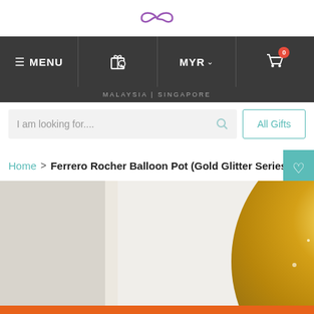[Figure (logo): Purple bow/ribbon icon used as website logo]
≡ MENU | [gift search icon] | MYR ∨ | [cart icon with badge 0]
MALAYSIA | SINGAPORE
I am looking for....    All Gifts
Home > Ferrero Rocher Balloon Pot (Gold Glitter Series)
[Figure (photo): Large gold glitter balloon/sphere product photo against white curtain background]